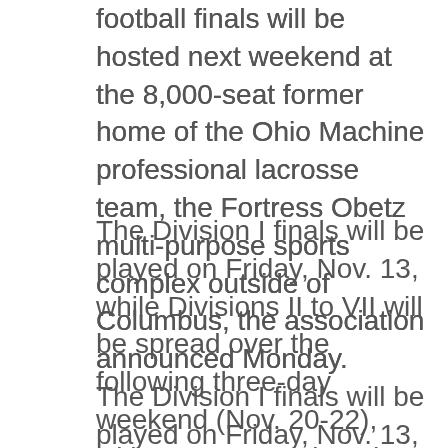football finals will be hosted next weekend at the 8,000-seat former home of the Ohio Machine professional lacrosse team, the Fortress Obetz multi-purpose sports complex outside of Columbus, the association announced Monday.
The Division I finals will be played on Friday, Nov. 13, while Divisions II to VII will be spread over the following three-day weekend (Nov. 20-22), with two games played per day.
Moving the finals to the Fortress Obetz facility will allow the finals to better match the current attendance limitations of 1,500 socially distanced fans allowed by the Ohio